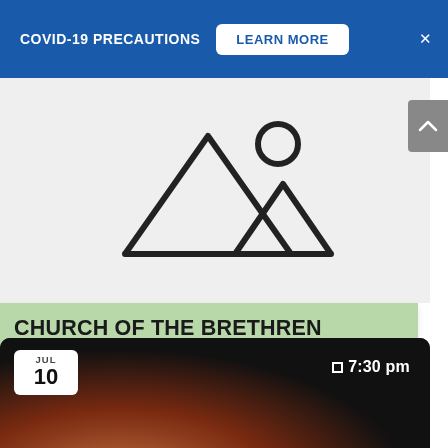COVID-19 PRECAUTIONS   LEARN MORE   ×
[Figure (illustration): Mountain landscape placeholder icon: two triangular mountain peaks with a small circle (sun) above and to the right, rendered as a line-art outline on a light gray background]
CHURCH OF THE BRETHREN ANNUAL CONFERENCE 2022
[Figure (photo): Dark event card thumbnail showing a person in low light with warm reddish-orange background gradient. Date label shows JUL 10. Time shows 7:30 pm.]